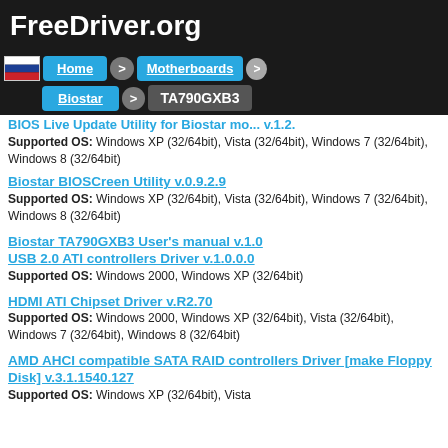FreeDriver.org
[Figure (screenshot): Navigation bar with Home, Motherboards, Biostar, TA790GXB3 breadcrumb buttons and Russian flag icon]
BIOS Live Update Utility for Biostar motherboards v.1.2. Supported OS: Windows XP (32/64bit), Vista (32/64bit), Windows 7 (32/64bit), Windows 8 (32/64bit)
Biostar BIOSCreen Utility v.0.9.2.9
Supported OS: Windows XP (32/64bit), Vista (32/64bit), Windows 7 (32/64bit), Windows 8 (32/64bit)
Biostar TA790GXB3 User's manual v.1.0
USB 2.0 ATI controllers Driver v.1.0.0.0
Supported OS: Windows 2000, Windows XP (32/64bit)
HDMI ATI Chipset Driver v.R2.70
Supported OS: Windows 2000, Windows XP (32/64bit), Vista (32/64bit), Windows 7 (32/64bit), Windows 8 (32/64bit)
AMD AHCI compatible SATA RAID controllers Driver [make Floppy Disk] v.3.1.1540.127
Supported OS: Windows XP (32/64bit), Vista